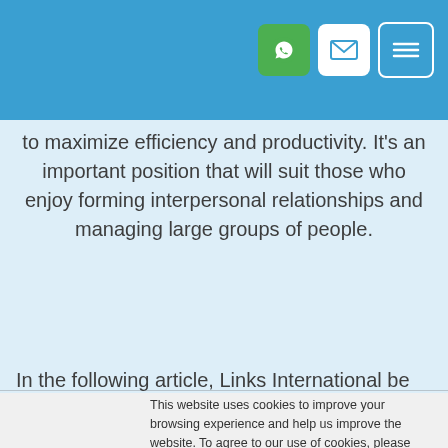[Navigation bar with WhatsApp, email, and menu icons]
to maximize efficiency and productivity. It's an important position that will suit those who enjoy forming interpersonal relationships and managing large groups of people.
In the following article, Links International be walking you
This website uses cookies to improve your browsing experience and help us improve the website. To agree to our use of cookies, please accept and you will continue browsing as normal. You can choose to reject the use of some or all cookies. Visit our privacy policy to learn more about the cookies we use and for information about how to change your preferences. Find out more.
Accept